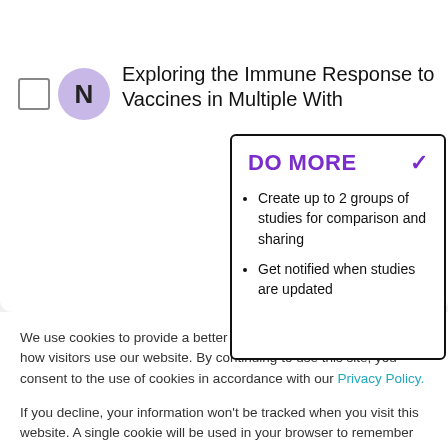Exploring the Immune Response to Vaccines in Multiple With
DO MORE
Create up to 2 groups of studies for comparison and sharing
Get notified when studies are updated
We use cookies to provide a better experience and to understand how visitors use our website. By continuing to use this site, you consent to the use of cookies in accordance with our Privacy Policy.
If you decline, your information won’t be tracked when you visit this website. A single cookie will be used in your browser to remember your preference not to be tracked.